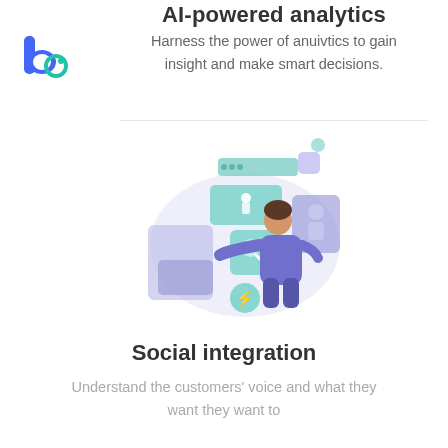[Figure (logo): Blue letter 'b' with teal circle accent logo in top left corner]
AI-powered analytics
Harness the power of anuivtics to gain insight and make smart decisions.
[Figure (illustration): Person interacting with social media and analytics UI elements floating around them, with a light purple oval background. Includes cards, maps, search icons, social icons.]
Social integration
Understand the customers' voice and what they want they want to